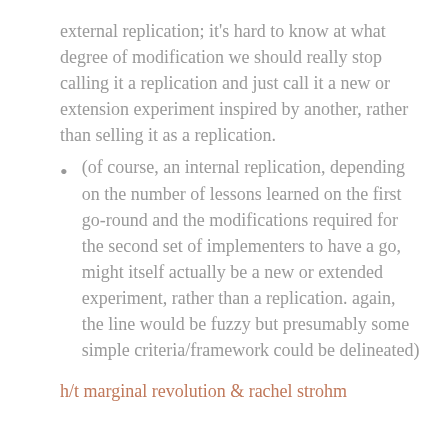external replication; it's hard to know at what degree of modification we should really stop calling it a replication and just call it a new or extension experiment inspired by another, rather than selling it as a replication.
(of course, an internal replication, depending on the number of lessons learned on the first go-round and the modifications required for the second set of implementers to have a go, might itself actually be a new or extended experiment, rather than a replication. again, the line would be fuzzy but presumably some simple criteria/framework could be delineated)
h/t marginal revolution & rachel strohm